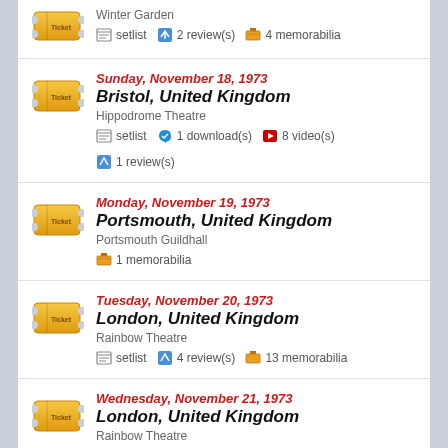Winter Garden | setlist | 2 review(s) | 4 memorabilia
Sunday, November 18, 1973 | Bristol, United Kingdom | Hippodrome Theatre | setlist | 1 download(s) | 8 video(s) | 1 review(s)
Monday, November 19, 1973 | Portsmouth, United Kingdom | Portsmouth Guildhall | 1 memorabilia
Tuesday, November 20, 1973 | London, United Kingdom | Rainbow Theatre | setlist | 4 review(s) | 13 memorabilia
Wednesday, November 21, 1973 | London, United Kingdom | Rainbow Theatre | 5 memorabilia
Thursday, November 22, 1973 | London, United Kingdom